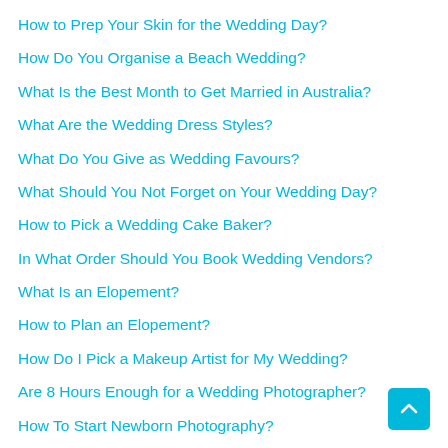How to Prep Your Skin for the Wedding Day?
How Do You Organise a Beach Wedding?
What Is the Best Month to Get Married in Australia?
What Are the Wedding Dress Styles?
What Do You Give as Wedding Favours?
What Should You Not Forget on Your Wedding Day?
How to Pick a Wedding Cake Baker?
In What Order Should You Book Wedding Vendors?
What Is an Elopement?
How to Plan an Elopement?
How Do I Pick a Makeup Artist for My Wedding?
Are 8 Hours Enough for a Wedding Photographer?
How To Start Newborn Photography?
What Are The Best Digital Photography Tips for Beginners?
Can I Cancel My Wedding Photographer?